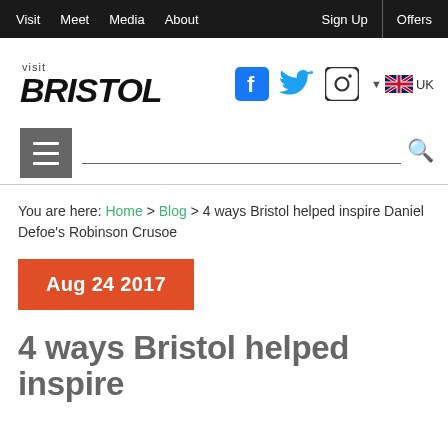Visit  Meet  Media  About  Sign Up  Offers
[Figure (logo): Visit Bristol logo with social media icons (Facebook, Twitter, Instagram) and UK flag language selector]
[Figure (other): Hamburger menu button and search bar with underline and magnifying glass icon]
You are here: Home > Blog > 4 ways Bristol helped inspire Daniel Defoe's Robinson Crusoe
Aug 24 2017
4 ways Bristol helped inspire